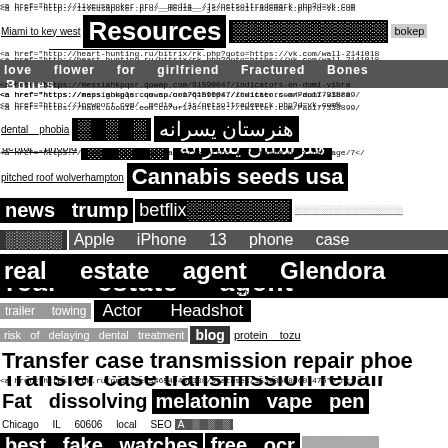<a href="http://liveusapoker.pro/__media__/js/netsoltrademark.php?d=vk.com
Miami to key west  Resources  ░░░░░░░░░░░░  bokep
<a href="http://heart-hunting.ru/bitrix/rk.php?goto=https://vk.com/wall-2141018
love   flower   for   girlfriend   Fractured   Bones
<a href="https://messiahkpqsr.qowap.com/61590047/indicators-on-domi-vibra
<a href="https://maps.google.com.cu/url?q=https://twitter.com/Paul77338899/
<a href="http://1newport.com/__media__/js/netsoltrademark.php?d=vk.com%
dental   phobia  ░ ░ ░  هنرستان یسرانه
<a href="https://forex4me.blox.ua/page/7">"https://forex4me.blox.ua/page/7</
pitched roof wolverhampton  Cannabis seeds usa
news  trump  betflix░░░░░░░░  ░░░░░░░░░░░░░░░░░
░░░░░  Apple   iPhone   13   phone   case
real   estate   agent   Glendora
<a href="http://ebook.vopen.net/__media__/js/netsoltrademark.php?d=vk.com
trailer   towing  Actor   Headshot
risk  of  delaying  dental  treatment  blog  protein  tozu
Transfer case transmission repair phoe
<a href="https://ok.ru/profile/546549456388/statuses/153986086601476">"htt
Fat  dissolving  melatonin  vape  pen
Chicago   IL   60606   local   SEO   A ░ ░ ░
best  fake  watches  free  ocr  ░░░░░░░